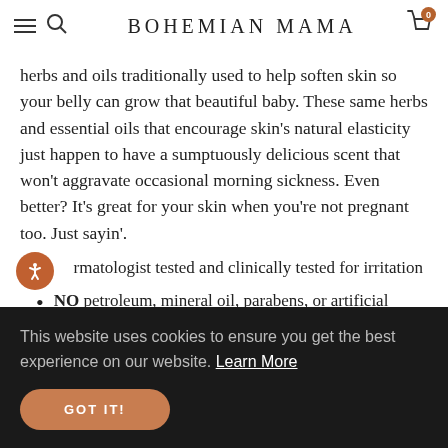BOHEMIAN MAMA
herbs and oils traditionally used to help soften skin so your belly can grow that beautiful baby. These same herbs and essential oils that encourage skin's natural elasticity just happen to have a sumptuously delicious scent that won't aggravate occasional morning sickness. Even better? It's great for your skin when you're not pregnant too. Just sayin'.
Dermatologist tested and clinically tested for irritation
NO petroleum, mineral oil, parabens, or artificial fragrance
Certified to the NSF/ANSI 305 Standard for Personal Care Products Containing Organic Ingredients
This website uses cookies to ensure you get the best experience on our website. Learn More GOT IT!